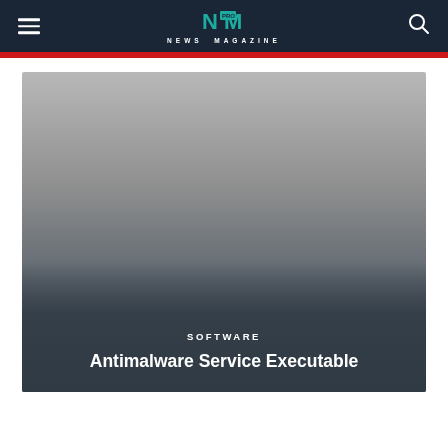NM PRO NEWS MAGAZINE
[Figure (screenshot): Article hero image with gradient overlay showing category label SOFTWARE and article title Antimalware Service Executable on a dark gray background]
SOFTWARE
Antimalware Service Executable